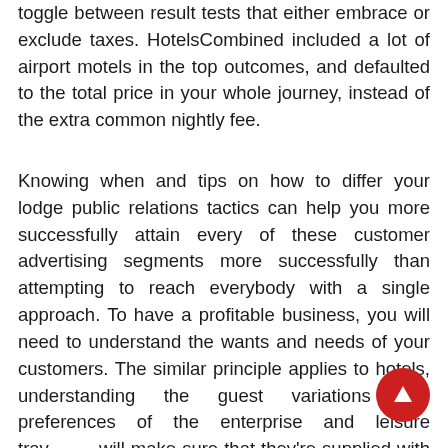toggle between result tests that either embrace or exclude taxes. HotelsCombined included a lot of airport motels in the top outcomes, and defaulted to the total price in your whole journey, instead of the extra common nightly fee.
Knowing when and tips on how to differ your lodge public relations tactics can help you more successfully attain every of these customer advertising segments more successfully than attempting to reach everybody with a single approach. To have a profitable business, you will need to understand the wants and needs of your customers. The similar principle applies to hotels, understanding the guest variations and preferences of the enterprise and leisure travellers will make sure that they're supplied with what they actually need. Leisure travellers are often on the